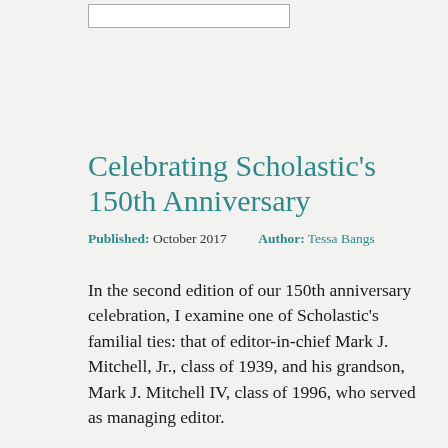Celebrating Scholastic’s 150th Anniversary
Published: October 2017    Author: Tessa Bangs
In the second edition of our 150th anniversary celebration, I examine one of Scholastic’s familial ties: that of editor-in-chief Mark J. Mitchell, Jr., class of 1939, and his grandson, Mark J. Mitchell IV, class of 1996, who served as managing editor.